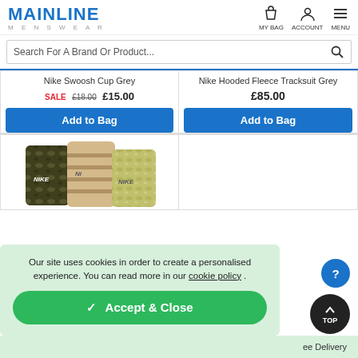[Figure (logo): Mainline Menswear logo in blue]
[Figure (screenshot): Header icons: MY BAG, ACCOUNT, MENU]
Search For A Brand Or Product...
Nike Swoosh Cup Grey
SALE £18.00 £15.00
Nike Hooded Fleece Tracksuit Grey
£85.00
Add to Bag
Add to Bag
[Figure (photo): Nike socks in camouflage and stripe patterns (olive/tan)]
Our site uses cookies in order to create a personalised experience. You can read more in our cookie policy .
✓ Accept & Close
ee Delivery